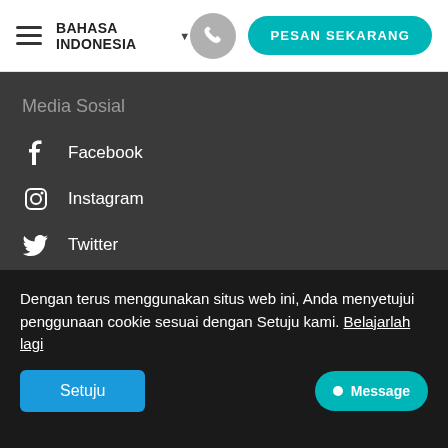BAHASA INDONESIA ▼  PESAN SEKARANG
Media Sosial
Facebook
Instagram
Twitter
Youtube
Dengan terus menggunakan situs web ini, Anda menyetujui penggunaan cookie sesuai dengan Setuju kami. Belajarlah lagi
Setuju
Message